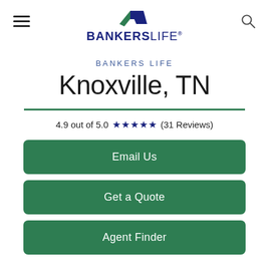[Figure (logo): Bankers Life logo with green and dark blue arrow icon and BANKERSLIFE wordmark]
BANKERS LIFE
Knoxville, TN
4.9 out of 5.0 ★★★★★ (31 Reviews)
Email Us
Get a Quote
Agent Finder